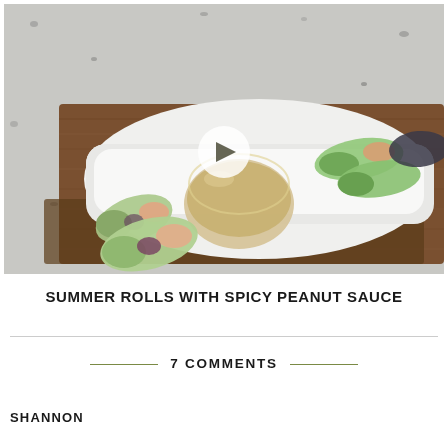[Figure (photo): Summer rolls with spicy peanut sauce on a white rectangular plate with a small glass bowl of golden dipping sauce, placed on a wooden cutting board on a granite countertop. A video play button is overlaid on the center of the image.]
SUMMER ROLLS WITH SPICY PEANUT SAUCE
7 COMMENTS
SHANNON